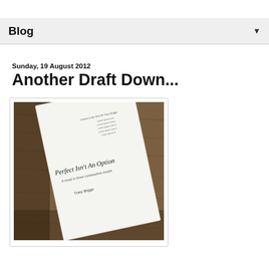Blog
Sunday, 19 August 2012
Another Draft Down...
[Figure (photo): A photograph of a printed manuscript on a wooden table. The manuscript cover page reads 'Perfect Isn't An Option' with subtitle and author name below.]